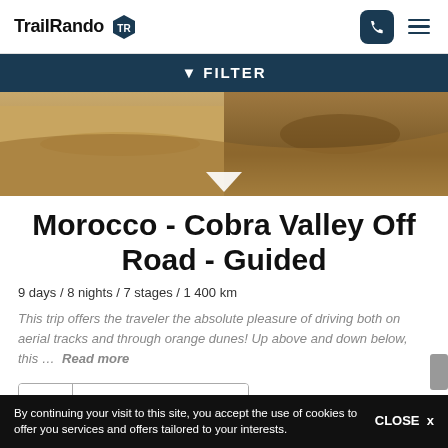TrailRando
[Figure (screenshot): Desert sand landscape with orange dunes, with a FILTER bar overlay at the top]
Morocco - Cobra Valley Off Road - Guided
9 days / 8 nights / 7 stages / 1 400 km
This trip offers the traveler the absolute pleasure of driving both on aerial tracks and through orange dunes! Up above and down below, this ... Read more
VIEW PROGRAM →
By continuing your visit to this site, you accept the use of cookies to offer you services and offers tailored to your interests. CLOSE x